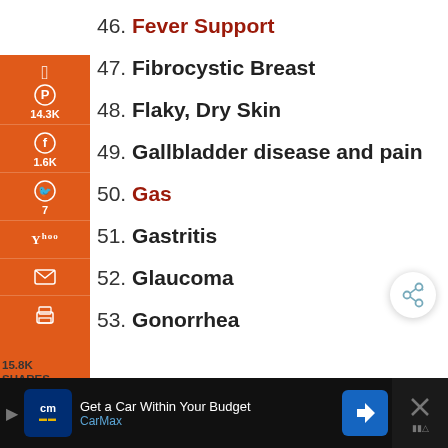46. Fever Support
47. Fibrocystic Breast
48. Flaky, Dry Skin
49. Gallbladder disease and pain
50. Gas
51. Gastritis
52. Glaucoma
53. Gonorrhea
[Figure (screenshot): Orange social sharing sidebar with Pinterest (14.3K), Facebook (1.6K), Twitter (7), Yahoo, Email, Print icons]
15.8K SHARES
[Figure (screenshot): CarMax advertisement bar: Get a Car Within Your Budget - CarMax]